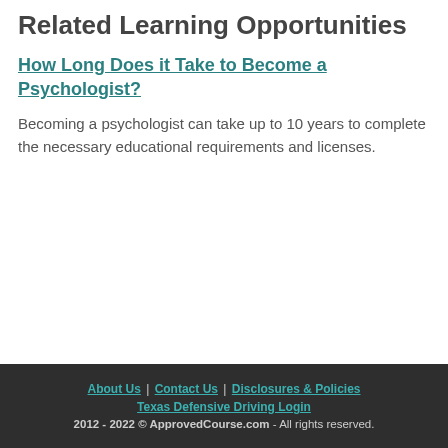Related Learning Opportunities
How Long Does it Take to Become a Psychologist?
Becoming a psychologist can take up to 10 years to complete the necessary educational requirements and licenses.
About Us | Contact Us | Disclosures & Policies  Texas Defensive Driving Login  2012 - 2022 © ApprovedCourse.com - All rights reserved.